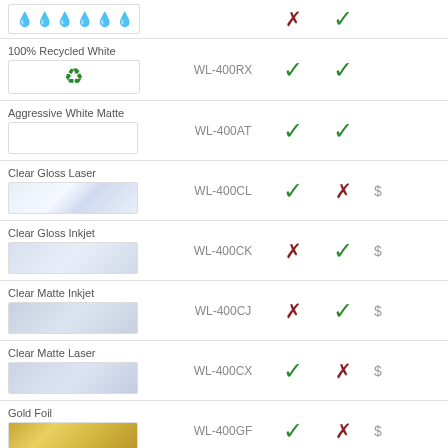| Material | SKU | Laser | Inkjet | Price |
| --- | --- | --- | --- | --- |
| (droplets) |  | ✗ | ✓ |  |
| 100% Recycled White | WL-400RX | ✓ | ✓ |  |
| Aggressive White Matte | WL-400AT | ✓ | ✓ |  |
| Clear Gloss Laser | WL-400CL | ✓ | ✗ | $ |
| Clear Gloss Inkjet | WL-400CK | ✗ | ✓ | $ |
| Clear Matte Inkjet | WL-400CJ | ✗ | ✓ | $ |
| Clear Matte Laser | WL-400CX | ✓ | ✗ | $ |
| Gold Foil | WL-400GF | ✓ | ✗ | $ |
| Silver Foil | WL-400SF | ✓ | ✗ | $ |